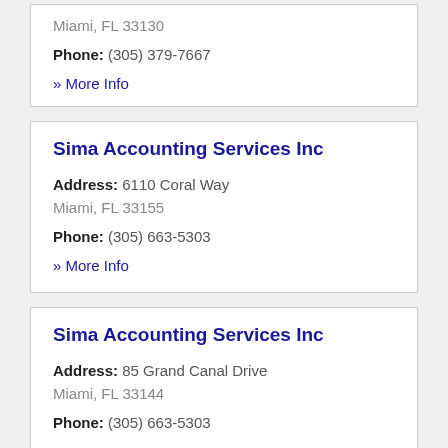Miami, FL 33130
Phone: (305) 379-7667
» More Info
Sima Accounting Services Inc
Address: 6110 Coral Way Miami, FL 33155
Phone: (305) 663-5303
» More Info
Sima Accounting Services Inc
Address: 85 Grand Canal Drive Miami, FL 33144
Phone: (305) 663-5303